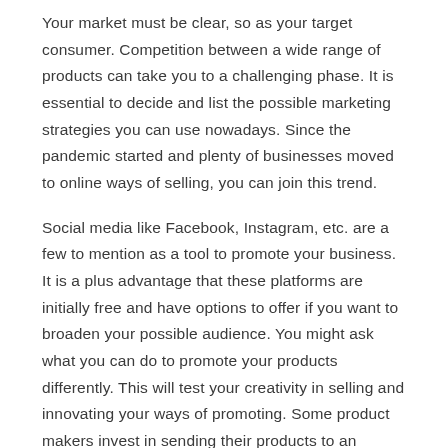Your market must be clear, so as your target consumer. Competition between a wide range of products can take you to a challenging phase. It is essential to decide and list the possible marketing strategies you can use nowadays. Since the pandemic started and plenty of businesses moved to online ways of selling, you can join this trend.
Social media like Facebook, Instagram, etc. are a few to mention as a tool to promote your business. It is a plus advantage that these platforms are initially free and have options to offer if you want to broaden your possible audience. You might ask what you can do to promote your products differently. This will test your creativity in selling and innovating your ways of promoting. Some product makers invest in sending their products to an influencer and paying them to use it and have a good review of it. This can broaden your market since a lot of people follow such influencers over the net.